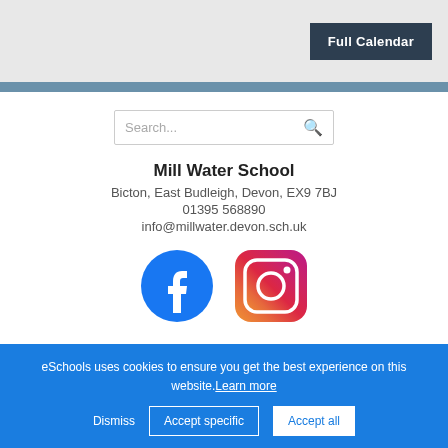Full Calendar
Search...
Mill Water School
Bicton, East Budleigh, Devon, EX9 7BJ
01395 568890
info@millwater.devon.sch.uk
[Figure (logo): Facebook logo icon - blue circle with white f]
[Figure (logo): Instagram logo icon - gradient square rounded with camera outline]
eSchools uses cookies to ensure you get the best experience on this website. Learn more
Dismiss   Accept specific   Accept all